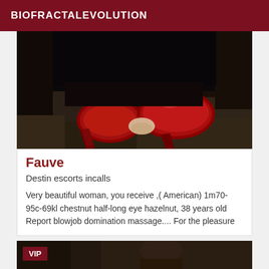BIOFRACTALEVOLUTION
[Figure (photo): Close-up photo of red high heel shoes on a dark stone floor, shot from a low angle]
Fauve
Destin escorts incalls
Very beautiful woman, you receive ,( American) 1m70-95c-69kl chestnut half-long eye hazelnut, 38 years old Report blowjob domination massage.... For the pleasure
[Figure (photo): Partial photo of a person, partially obscured, with a VIP badge overlay in the upper left]